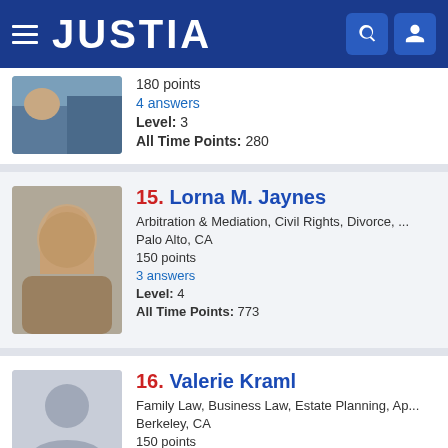JUSTIA
180 points
4 answers
Level: 3
All Time Points: 280
15. Lorna M. Jaynes
Arbitration & Mediation, Civil Rights, Divorce, ...
Palo Alto, CA
150 points
3 answers
Level: 4
All Time Points: 773
16. Valerie Kraml
Family Law, Business Law, Estate Planning, Ap...
Berkeley, CA
150 points